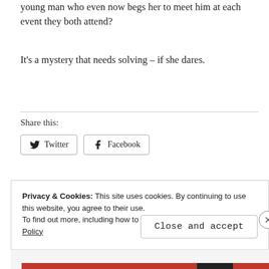young man who even now begs her to meet him at each event they both attend?
It's a mystery that needs solving – if she dares.
Share this:
[Figure (other): Twitter and Facebook share buttons]
Privacy & Cookies: This site uses cookies. By continuing to use this website, you agree to their use.
To find out more, including how to control cookies, see here: Cookie Policy
Close and accept